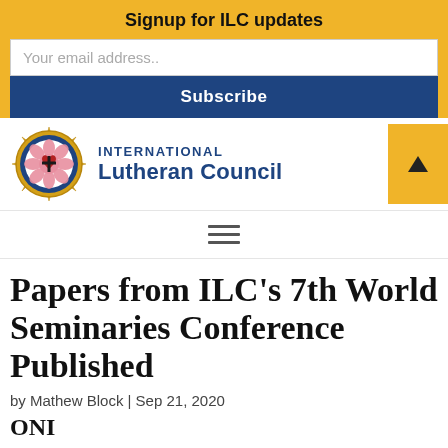Signup for ILC updates
Your email address..
Subscribe
[Figure (logo): International Lutheran Council logo with Luther Rose emblem and blue text reading INTERNATIONAL Lutheran Council]
≡
Papers from ILC's 7th World Seminaries Conference Published
by Mathew Block | Sep 21, 2020
ONI